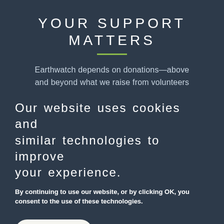YOUR SUPPORT MATTERS
Earthwatch depends on donations—above and beyond what we raise from volunteers
Our website uses cookies and similar technologies to improve your experience.
By continuing to use our website, or by clicking OK, you consent to the use of these technologies.
Accept